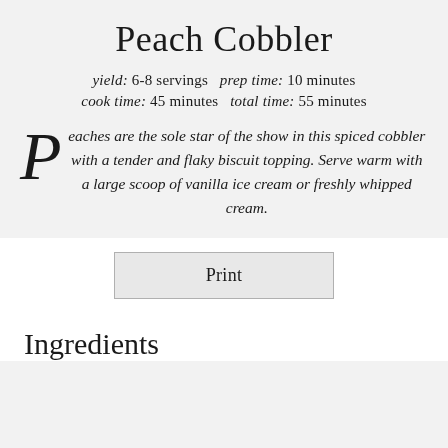Peach Cobbler
yield: 6-8 servings   prep time: 10 minutes
cook time: 45 minutes   total time: 55 minutes
Peaches are the sole star of the show in this spiced cobbler with a tender and flaky biscuit topping. Serve warm with a large scoop of vanilla ice cream or freshly whipped cream.
Print
Ingredients